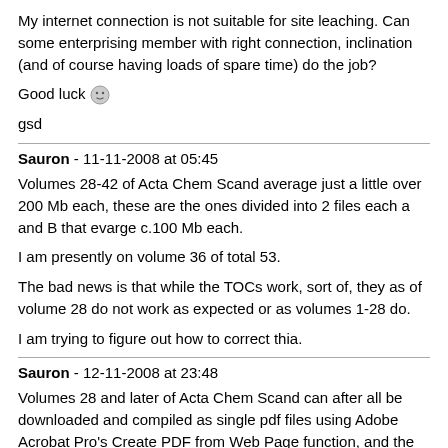My internet connection is not suitable for site leaching. Can some enterprising member with right connection, inclination (and of course having loads of spare time) do the job?
Good luck 😐
gsd
Sauron - 11-11-2008 at 05:45
Volumes 28-42 of Acta Chem Scand average just a little over 200 Mb each, these are the ones divided into 2 files each a and B that evarge c.100 Mb each.
I am presently on volume 36 of total 53.
The bad news is that while the TOCs work, sort of, they as of volume 28 do not work as expected or as volumes 1-28 do.
I am trying to figure out how to correct thia.
Sauron - 12-11-2008 at 23:48
Volumes 28 and later of Acta Chem Scand can after all be downloaded and compiled as single pdf files using Adobe Acrobat Pro's Create PDF from Web Page function, and the links in TOC will call the pdfs locally, while djvu documents will be downloaded from an